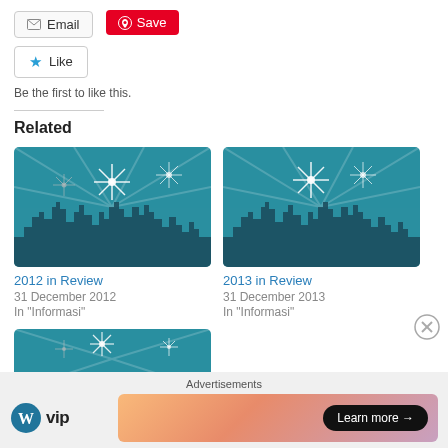[Figure (screenshot): Email and Save buttons at the top]
[Figure (screenshot): Like button with star icon]
Be the first to like this.
Related
[Figure (photo): Fireworks over city skyline - 2012 in Review thumbnail]
2012 in Review
31 December 2012
In "Informasi"
[Figure (photo): Fireworks over city skyline - 2013 in Review thumbnail]
2013 in Review
31 December 2013
In "Informasi"
[Figure (photo): Partial fireworks thumbnail at bottom]
Advertisements
[Figure (logo): WordPress VIP logo and advertisement banner with Learn more button]